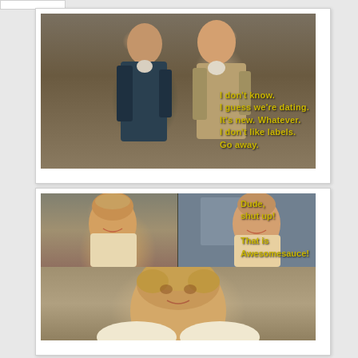[Figure (photo): Two men in period costume (Regency era) walking outdoors against a stone wall background. Yellow bold text overlaid reads: I don't know. / I guess we're dating. / It's new. Whatever. / I don't like labels. / Go away.]
[Figure (photo): Meme with three panels: top-left shows a blonde woman smiling with text 'Hey, I love you.'; top-right shows a man smiling with text 'Dude, shut up! That is Awesomesauce!'; bottom panel shows a close-up of the blonde woman looking pleased.]